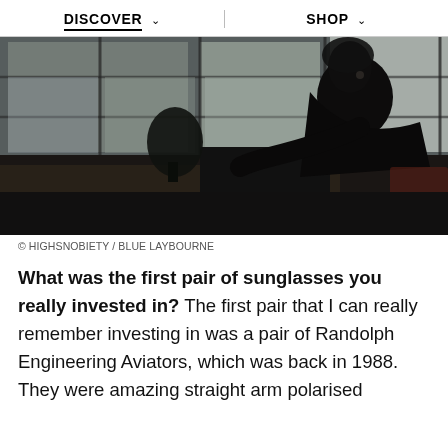DISCOVER   SHOP
[Figure (photo): Silhouette of a person sitting and leaning over a table near large windows, with a city view in the background and plants on the windowsill]
© HIGHSNOBIETY / BLUE LAYBOURNE
What was the first pair of sunglasses you really invested in? The first pair that I can really remember investing in was a pair of Randolph Engineering Aviators, which was back in 1988. They were amazing straight arm polarised